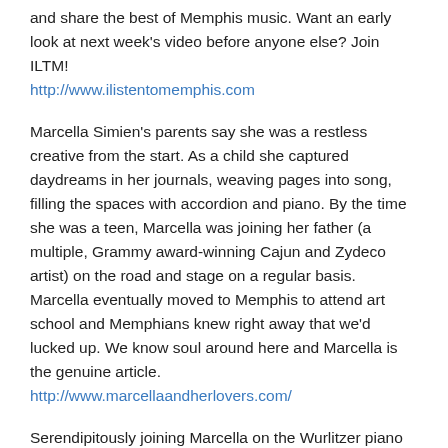and share the best of Memphis music. Want an early look at next week's video before anyone else? Join ILTM! http://www.ilistentomemphis.com
Marcella Simien's parents say she was a restless creative from the start. As a child she captured daydreams in her journals, weaving pages into song, filling the spaces with accordion and piano. By the time she was a teen, Marcella was joining her father (a multiple, Grammy award-winning Cajun and Zydeco artist) on the road and stage on a regular basis. Marcella eventually moved to Memphis to attend art school and Memphians knew right away that we'd lucked up. We know soul around here and Marcella is the genuine article. http://www.marcellaandherlovers.com/
Serendipitously joining Marcella on the Wurlitzer piano in this performance is Spooner Oldham.